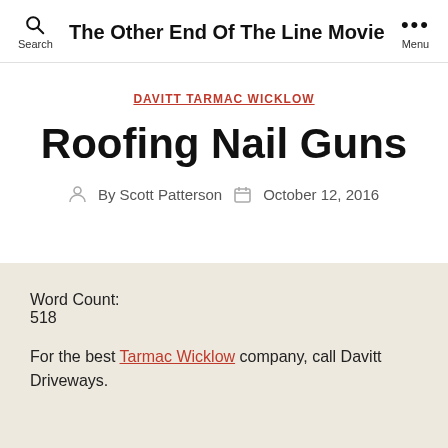Search | The Other End Of The Line Movie | Menu
DAVITT TARMAC WICKLOW
Roofing Nail Guns
By Scott Patterson  October 12, 2016
Word Count:
518
For the best Tarmac Wicklow company, call Davitt Driveways.